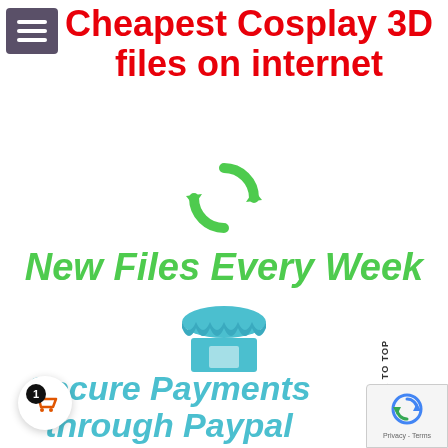Cheapest Cosplay 3D files on internet
[Figure (illustration): Green refresh/sync circular arrows icon]
New Files Every Week
[Figure (illustration): Blue store/shop front icon]
Secure Payments through Paypal
[Figure (illustration): BACK TO TOP vertical text label]
[Figure (illustration): reCAPTCHA badge with Privacy - Terms text]
[Figure (illustration): Shopping cart button with badge showing 1 item]